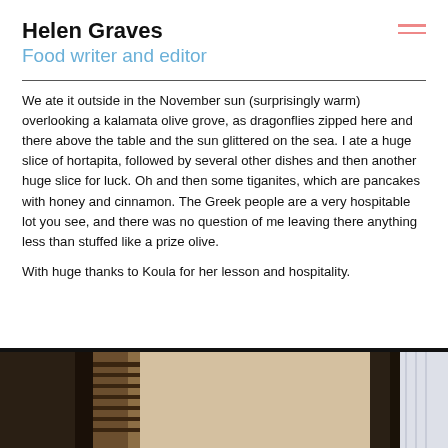Helen Graves
Food writer and editor
We ate it outside in the November sun (surprisingly warm) overlooking a kalamata olive grove, as dragonflies zipped here and there above the table and the sun glittered on the sea. I ate a huge slice of hortapita, followed by several other dishes and then another huge slice for luck. Oh and then some tiganites, which are pancakes with honey and cinnamon. The Greek people are a very hospitable lot you see, and there was no question of me leaving there anything less than stuffed like a prize olive.
With huge thanks to Koula for her lesson and hospitality.
[Figure (photo): Partial photo showing interior architectural details, wooden beams, and curtain in natural light]